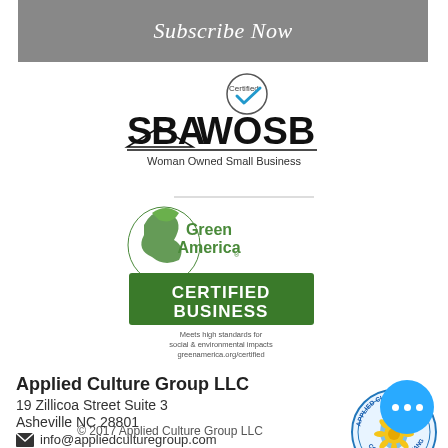Subscribe Now
[Figure (logo): SBA WOSB Certified Woman Owned Small Business logo with blue checkmark circle]
[Figure (logo): Green America Certified Business logo with green earth figure and green certified business badge. Text: Meets high standards for social & environmental impacts greenamerica.org/certified]
Applied Culture Group LLC
19 Zillicoa Street Suite 3
Asheville NC 28801
info@appliedculturegroup.com
[Figure (logo): Applied Culture Group circular badge logo with blue water drop and yellow flower, text: Applied Culture Group, Co-Creating Change]
© 2017 Applied Culture Group LLC